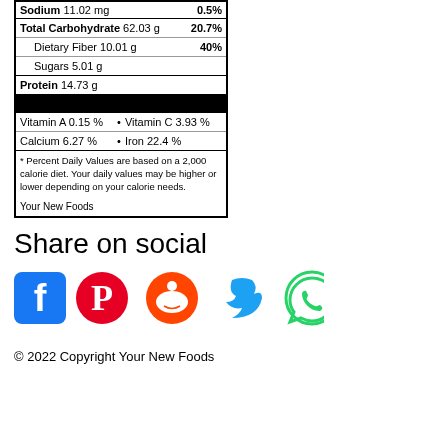| Sodium 11.02 mg | 0.5% |
| Total Carbohydrate 62.03 g | 20.7% |
| Dietary Fiber 10.01 g | 40% |
| Sugars 5.01 g |  |
| Protein 14.73 g |  |
| Vitamin A 0.15 % | Vitamin C 3.93 % |
| Calcium 6.27 % | Iron 22.4 % |
* Percent Daily Values are based on a 2,000 calorie diet. Your daily values may be higher or lower depending on your calorie needs.
Your New Foods
Share on social
[Figure (illustration): Social media icons: Facebook, Pinterest, Reddit, Twitter, WhatsApp]
© 2022 Copyright Your New Foods